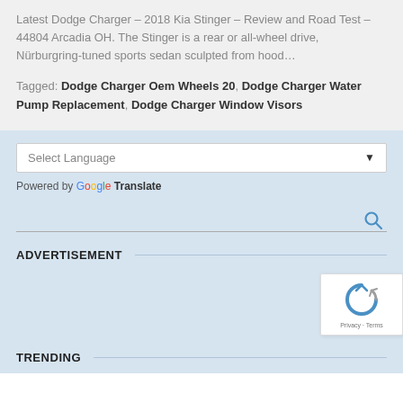Latest Dodge Charger – 2018 Kia Stinger – Review and Road Test – 44804 Arcadia OH. The Stinger is a rear or all-wheel drive, Nürburgring-tuned sports sedan sculpted from hood…
Tagged: Dodge Charger Oem Wheels 20, Dodge Charger Water Pump Replacement, Dodge Charger Window Visors
Select Language
Powered by Google Translate
ADVERTISEMENT
TRENDING